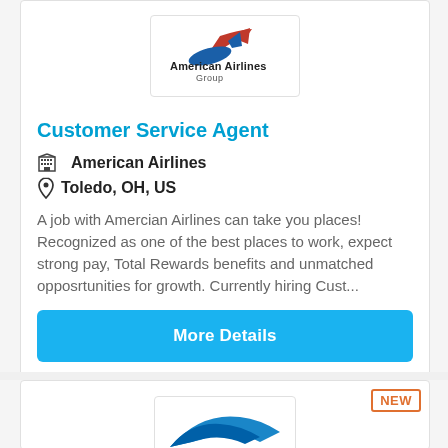[Figure (logo): American Airlines Group logo with eagle/bird icon in red and blue and text 'American Airlines Group']
Customer Service Agent
🏢 American Airlines
📍 Toledo, OH, US
A job with Amercian Airlines can take you places! Recognized as one of the best places to work, expect strong pay, Total Rewards benefits and unmatched opposrtunities for growth. Currently hiring Cust...
More Details
NEW